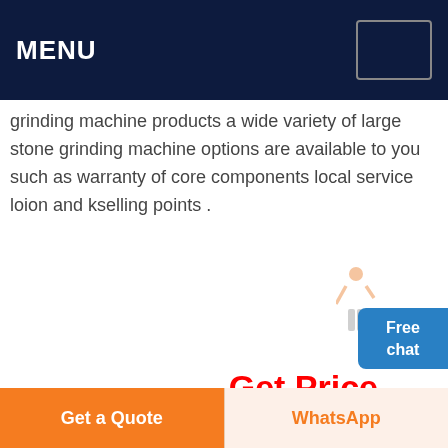MENU
grinding machine products a wide variety of large stone grinding machine options are available to you such as warranty of core components local service loion and key selling points .
Get Price
[Figure (photo): Industrial aerial view of large stone grinding machine equipment with conveyor belts, metal structures, gears, and a red container]
Get a Quote
WhatsApp